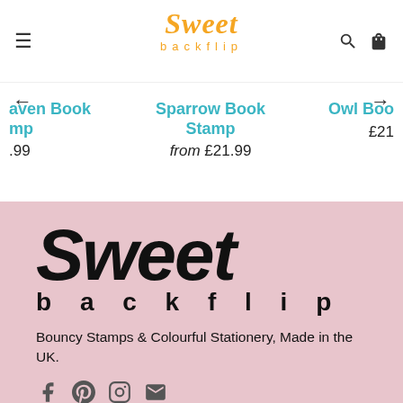Sweet backflip — navigation bar with hamburger menu, logo, search and bag icons
← →
aven Book Stamp .99
Sparrow Book Stamp from £21.99
Owl Boo £21
[Figure (logo): Sweet backflip logo in black on pink background with 'backflip' in spaced letters below]
Bouncy Stamps & Colourful Stationery, Made in the UK.
Social icons: Facebook, Pinterest, Instagram, Email